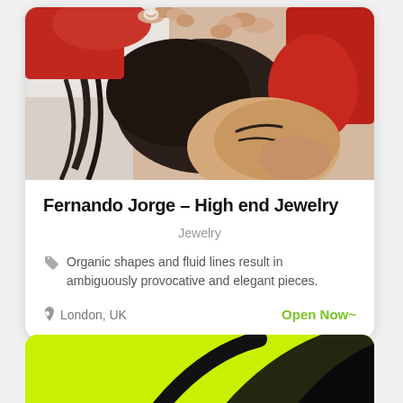[Figure (photo): Woman in red sweater lying back with hands in dark hair, wearing pearl/crystal ring, eyes closed, viewed from above against white background.]
Fernando Jorge – High end Jewelry
Jewelry
Organic shapes and fluid lines result in ambiguously provocative and elegant pieces.
London, UK
Open Now~
[Figure (photo): Partial view of yellow-green neon background with black curved shapes, bottom of page card.]